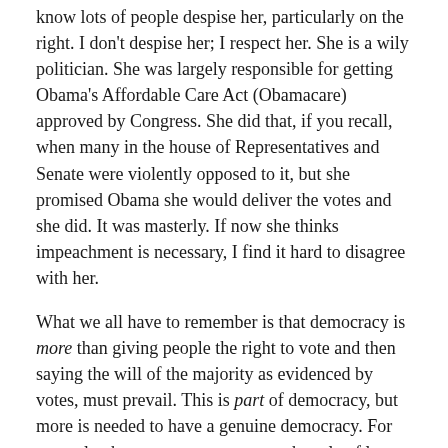know lots of people despise her, particularly on the right. I don't despise her; I respect her. She is a wily politician. She was largely responsible for getting Obama's Affordable Care Act (Obamacare) approved by Congress. She did that, if you recall, when many in the house of Representatives and Senate were violently opposed to it, but she promised Obama she would deliver the votes and she did. It was masterly. If now she thinks impeachment is necessary, I find it hard to disagree with her.
What we all have to remember is that democracy is more than giving people the right to vote and then saying the will of the majority as evidenced by votes, must prevail. This is part of democracy, but more is needed to have a genuine democracy. For example, the country must respect the rule of law. Moreover there must be reasonable limits on what the majority can do. Human rights must be respected even if the majority wants to get around them. This is important.